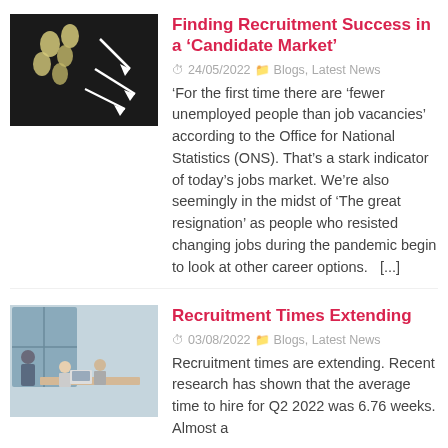[Figure (photo): Chalkboard with arrows and egg-like shapes drawn on it]
Finding Recruitment Success in a ‘Candidate Market’
24/05/2022   Blogs, Latest News
‘For the first time there are ‘fewer unemployed people than job vacancies’ according to the Office for National Statistics (ONS). That’s a stark indicator of today’s jobs market. We’re also seemingly in the midst of ‘The great resignation’ as people who resisted changing jobs during the pandemic begin to look at other career options.   [...]
[Figure (photo): Office meeting scene with people sitting around a table]
Recruitment Times Extending
03/08/2022   Blogs, Latest News
Recruitment times are extending. Recent research has shown that the average time to hire for Q2 2022 was 6.76 weeks. Almost a